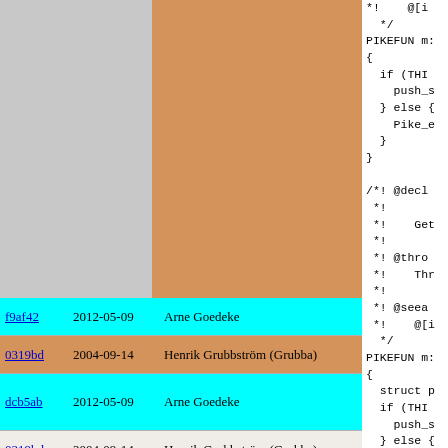[Figure (screenshot): Git blame view of source code. Left panel shows commit hashes, dates, and authors. Right panel shows C/Pike source code. Top section shows a large block attributed to a single commit (orange/tan background). Rows at bottom show: f9af42 2012-05-09 Arne Goedeke (cyan), 0319bd 2004-09-14 Henrik Grubbström (Grubba) (orange), dcb5ab 2012-05-09 Arne Goedeke (cyan), 0319bd 2004-09-14 Henrik Grubbström (Grubba) (light). Code shows PIKEFUN, if/else blocks, struct, push_s, Pike_e, @decl, @throw, @seealso annotations.]